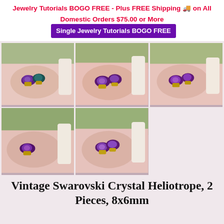Jewelry Tutorials BOGO FREE - Plus FREE Shipping 🚚 on All Domestic Orders $75.00 or More  Single Jewelry Tutorials BOGO FREE
[Figure (photo): Hand holding two small purple/teal crystal stones with gold settings against floral background - photo 1]
[Figure (photo): Hand holding two small purple crystal stones with gold settings against floral background - photo 2]
[Figure (photo): Hand holding two small purple crystal stones with gold settings against floral background - photo 3]
[Figure (photo): Hand holding two small purple crystal stones with gold settings against floral background - photo 4]
[Figure (photo): Hand holding two small purple crystal stones with gold settings against floral background - photo 5]
Vintage Swarovski Crystal Heliotrope, 2 Pieces, 8x6mm